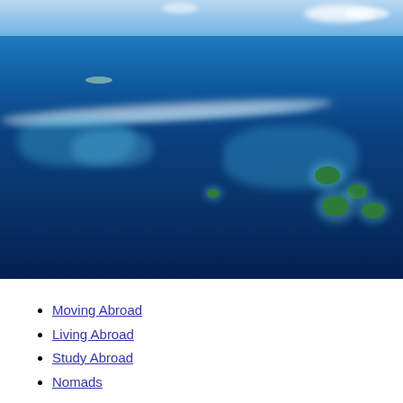[Figure (photo): Aerial photograph of tropical ocean atolls and islands viewed from high altitude, showing vivid blue water, coral reef formations, white foam patterns, and small green islands with shallow turquoise lagoons in the Maldives or similar tropical archipelago.]
Moving Abroad
Living Abroad
Study Abroad
Nomads